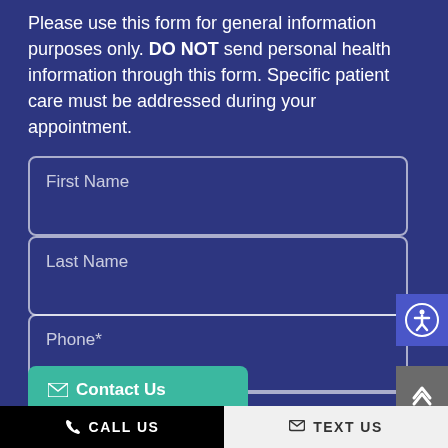Please use this form for general information purposes only. DO NOT send personal health information through this form. Specific patient care must be addressed during your appointment.
First Name
Last Name
Phone*
Contact Us
CALL US
TEXT US